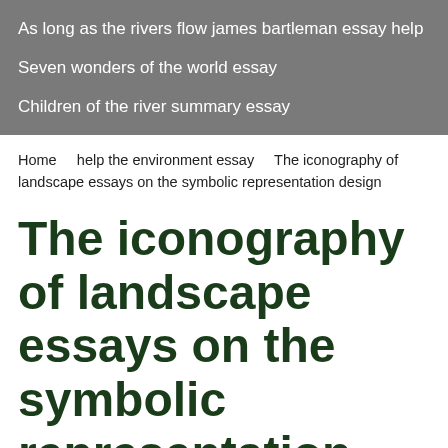As long as the rivers flow james bartleman essay help
Seven wonders of the world essay
Children of the river summary essay
Home   help the environment essay   The iconography of landscape essays on the symbolic representation design
The iconography of landscape essays on the symbolic representation design